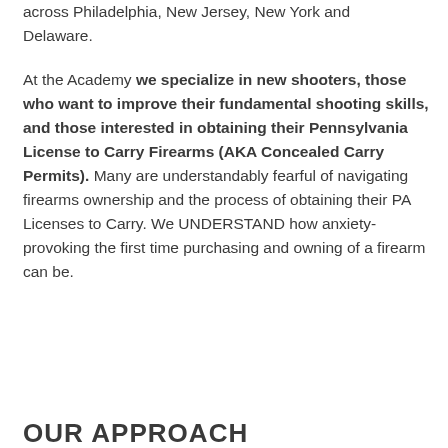across Philadelphia, New Jersey, New York and Delaware.
At the Academy we specialize in new shooters, those who want to improve their fundamental shooting skills, and those interested in obtaining their Pennsylvania License to Carry Firearms (AKA Concealed Carry Permits). Many are understandably fearful of navigating firearms ownership and the process of obtaining their PA Licenses to Carry. We UNDERSTAND how anxiety-provoking the first time purchasing and owning of a firearm can be.
OUR APPROACH